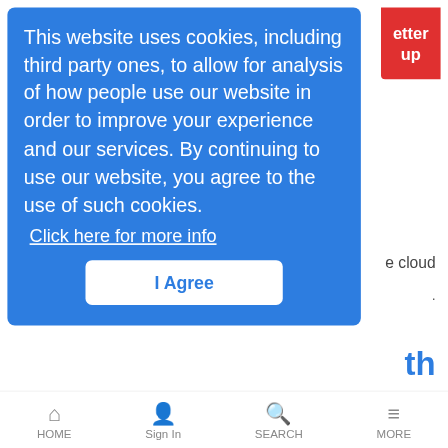[Figure (screenshot): Cookie consent overlay on a blue background with text about cookie usage, a 'Click here for more info' link, and an 'I Agree' button. A red button partially visible in the top right corner.]
This website uses cookies, including third party ones, to allow for analysis of how people use our website in order to improve your experience and our services. By continuing to use our website, you agree to the use of such cookies.
Click here for more info
I Agree
Eurobites: Swisscom Commits to IP Timeline
News Analysis | 4/27/2017
Also in today's EMEA regional roundup: Vodafone and Proximus stay friends in Belgium and Luxembourg; UK government angered by Twitter data block; Sky's OTT service launches in Ireland.
HOME | Sign In | SEARCH | MORE